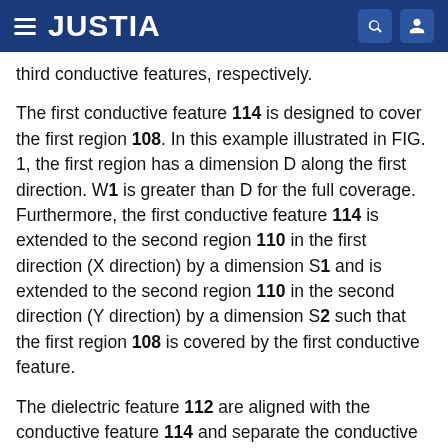JUSTIA
third conductive features, respectively.
The first conductive feature 114 is designed to cover the first region 108. In this example illustrated in FIG. 1, the first region has a dimension D along the first direction. W1 is greater than D for the full coverage. Furthermore, the first conductive feature 114 is extended to the second region 110 in the first direction (X direction) by a dimension S1 and is extended to the second region 110 in the second direction (Y direction) by a dimension S2 such that the first region 108 is covered by the first conductive feature.
The dielectric feature 112 are aligned with the conductive feature 114 and separate the conductive features 114 from the fin active regions 104. In one example, the dielectric feature 112 and the conductive